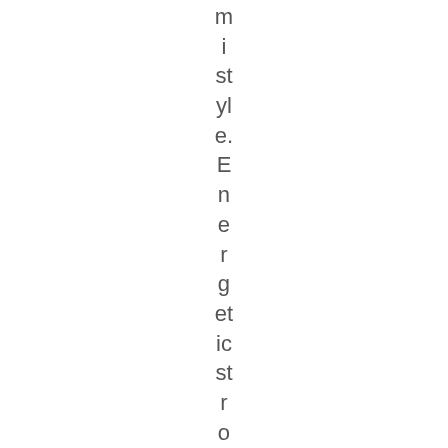mistyle.Energeticstrokesanduniquu